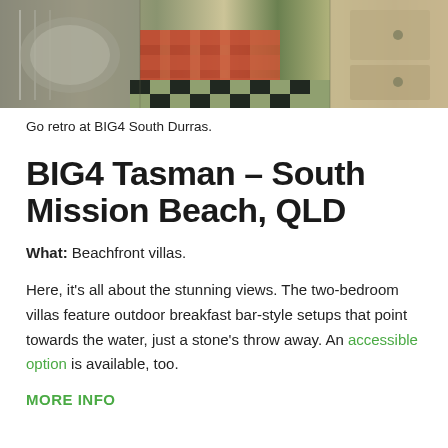[Figure (photo): Interior of a retro-style caravan/cabin at BIG4 South Durras, showing a kitchenette with stainless steel sink, plaid/checkered upholstered seating, green and black checkered floor, and wooden cabinetry.]
Go retro at BIG4 South Durras.
BIG4 Tasman – South Mission Beach, QLD
What: Beachfront villas.
Here, it's all about the stunning views. The two-bedroom villas feature outdoor breakfast bar-style setups that point towards the water, just a stone's throw away. An accessible option is available, too.
MORE INFO